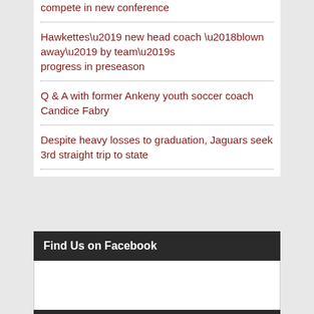compete in new conference
Hawkettes’ new head coach ‘blown away’ by team’s progress in preseason
Q & A with former Ankeny youth soccer coach Candice Fabry
Despite heavy losses to graduation, Jaguars seek 3rd straight trip to state
Find Us on Facebook